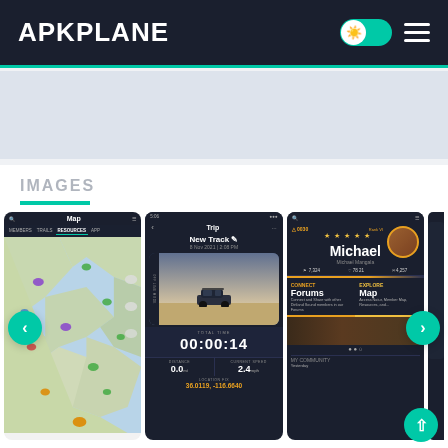APKPLANE
IMAGES
[Figure (screenshot): Three mobile app screenshots of an off-road/outdoor trail app showing: (1) a map view with trail markers, (2) a trip tracking screen showing 'New Track', total time 00:00:14, distance 0.0 mi, speed 2.4 mph, location 36.0119, -116.6640, (3) a user profile screen for 'Michael' with community connect/explore tabs showing Forums and Map sections]